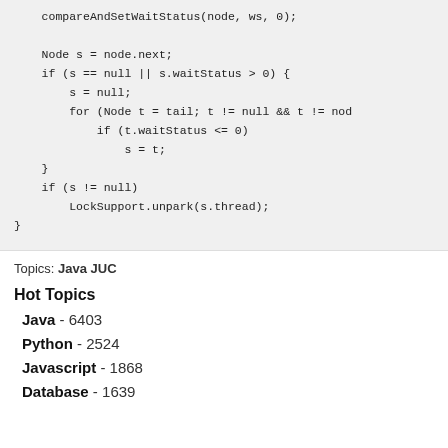compareAndSetWaitStatus(node, ws, 0);

    Node s = node.next;
    if (s == null || s.waitStatus > 0) {
        s = null;
        for (Node t = tail; t != null && t != nod
            if (t.waitStatus <= 0)
                s = t;
    }
    if (s != null)
        LockSupport.unpark(s.thread);
}
Topics: Java JUC
Hot Topics
Java - 6403
Python - 2524
Javascript - 1868
Database - 1639